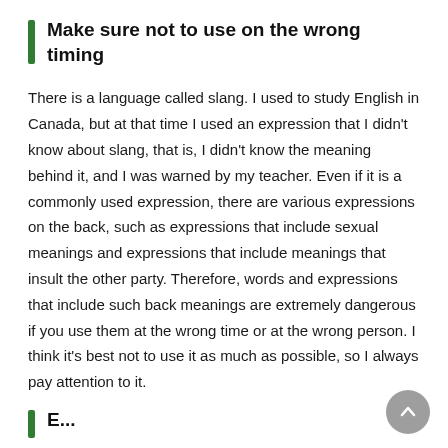Make sure not to use on the wrong timing
There is a language called slang. I used to study English in Canada, but at that time I used an expression that I didn't know about slang, that is, I didn't know the meaning behind it, and I was warned by my teacher. Even if it is a commonly used expression, there are various expressions on the back, such as expressions that include sexual meanings and expressions that include meanings that insult the other party. Therefore, words and expressions that include such back meanings are extremely dangerous if you use them at the wrong time or at the wrong person. I think it's best not to use it as much as possible, so I always pay attention to it.
E...